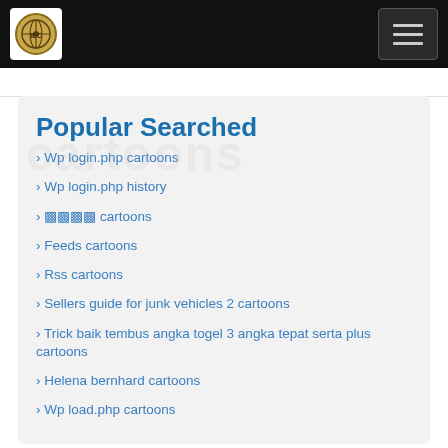[Figure (logo): Circular logo with globe/coin motif on black header bar]
Popular Searched
Wp login.php cartoons
Wp login.php history
𝄞𝄞𝄞𝄞 cartoons
Feeds cartoons
Rss cartoons
Sellers guide for junk vehicles 2 cartoons
Trick baik tembus angka togel 3 angka tepat serta plus cartoons
Helena bernhard cartoons
Wp load.php cartoons